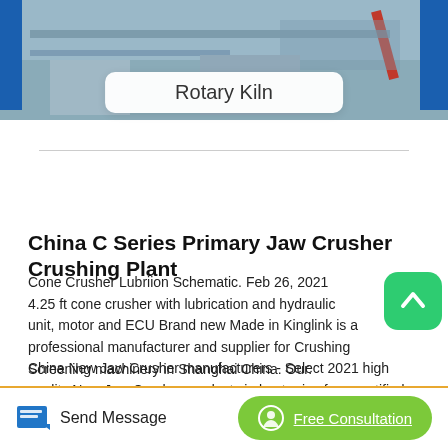[Figure (photo): Industrial machinery photo showing blue metal structures, likely industrial equipment or building framework]
Rotary Kiln
China C Series Primary Jaw Crusher Crushing Plant
Cone Crusher Lubriion Schematic. Feb 26, 2021 4.25 ft cone crusher with lubrication and hydraulic unit, motor and ECU Brand new Made in Kinglink is a professional manufacturer and supplier for Crushing Screening machinery in Shanghai China. Our.
China New Jaw Crusher manufacturers - Select 2021 high quality New Jaw Crusher products in best price from certified Chinese Crushing Machine, China Crusher suppliers, wholesalers and factory on Made-in-China.com.
Send Message
Free Consultation